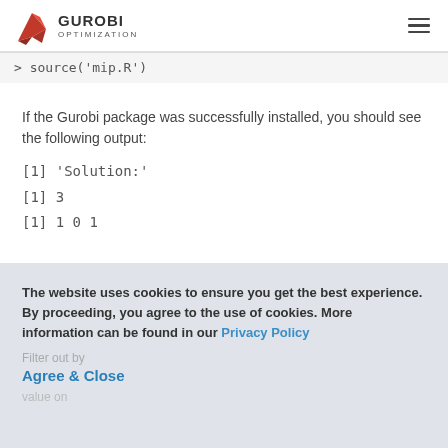GUROBI OPTIMIZATION
> source('mip.R')
If the Gurobi package was successfully installed, you should see the following output:
[1] 'Solution:'
[1] 3
[1] 1 0 1
The website uses cookies to ensure you get the best experience. By proceeding, you agree to the use of cookies. More information can be found in our Privacy Policy
Agree & Close